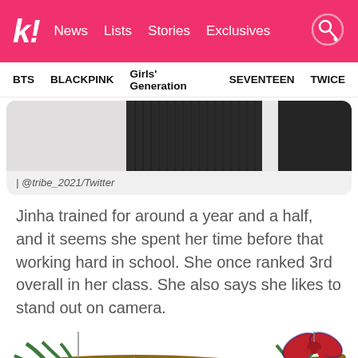k! News  Lists  Stories  Exclusives
BTS  BLACKPINK  Girls' Generation  SEVENTEEN  TWICE
[Figure (photo): Close-up photo of dark clothing, partially visible, cropped at top]
| @tribe_2021/Twitter
Jinha trained for around a year and a half, and it seems she spent her time before that working hard in school. She once ranked 3rd overall in her class. She also says she likes to stand out on camera.
[Figure (photo): Christmas decoration with pine branches, pinecones, fairy lights, and a red plaid bow on a white background]